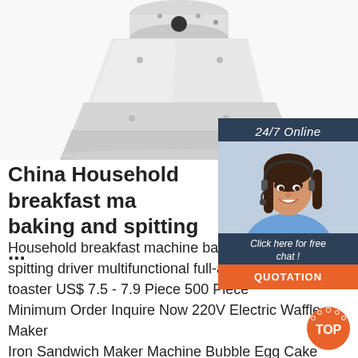[Figure (photo): Product photo of a white household breakfast machine/appliance viewed from above-front angle, on white background]
[Figure (photo): Sidebar panel showing '24/7 Online' text in dark blue background, a female customer service agent with headset smiling, 'Click here for free chat!' text, and an orange QUOTATION button]
China Household breakfast ma baking and spitting ...
Household household breakfast machine baking spitting driver multifunctional full-auto toaster US$ 7.5 - 7.9 Piece 500 Piece Minimum Order Inquire Now 220V Electric Waffle Maker Iron Sandwich Maker Machine Bubble Egg Cake Oven Breakfast Waffle Machine US$ 10.5 - 11.5 Set 300 Sets Minimum Order Inquire Now
[Figure (logo): Orange TOP logo badge with decorative dots in bottom right corner]